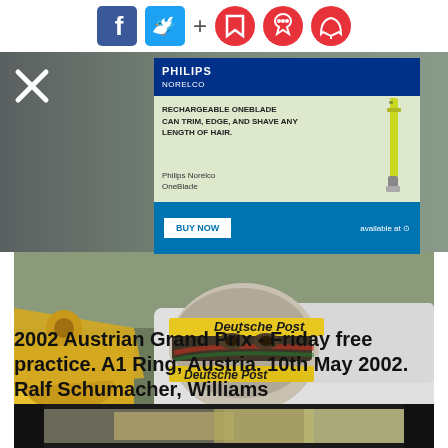[Figure (screenshot): Social media sharing bar with Facebook, Twitter, plus sign, bookmark, bell, and chat bubble icons]
[Figure (screenshot): Philips Norelco OneBlade advertisement overlay with close button (X), blue header, razor image, BUY NOW button]
[Figure (photo): Racing driver Ralf Schumacher inside a yellow Williams F1 car wearing helmet with Deutsche Post branding, A1 Ring Austria 2002]
2002 Austrian Grand Prix - Friday free practice. A1 Ring, Austria. 10th May 2002. Ralf Schumacher, Williams
[Figure (photo): Partial view of another racing photo at the bottom of the page]